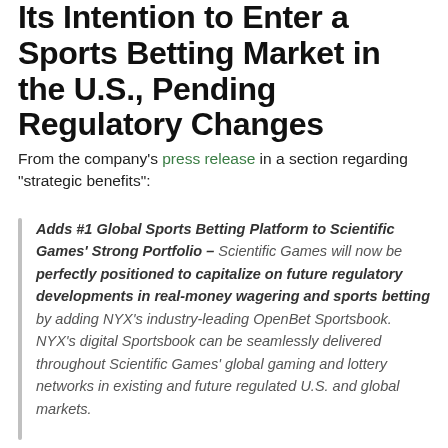Its Intention to Enter a Sports Betting Market in the U.S., Pending Regulatory Changes
From the company's press release in a section regarding "strategic benefits":
Adds #1 Global Sports Betting Platform to Scientific Games' Strong Portfolio – Scientific Games will now be perfectly positioned to capitalize on future regulatory developments in real-money wagering and sports betting by adding NYX's industry-leading OpenBet Sportsbook. NYX's digital Sportsbook can be seamlessly delivered throughout Scientific Games' global gaming and lottery networks in existing and future regulated U.S. and global markets.